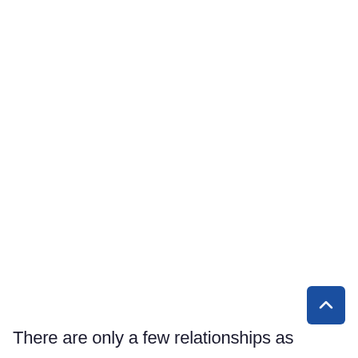There are only a few relationships as
[Figure (other): Scroll-to-top button: a blue rounded square with a white upward-pointing chevron/caret arrow icon]